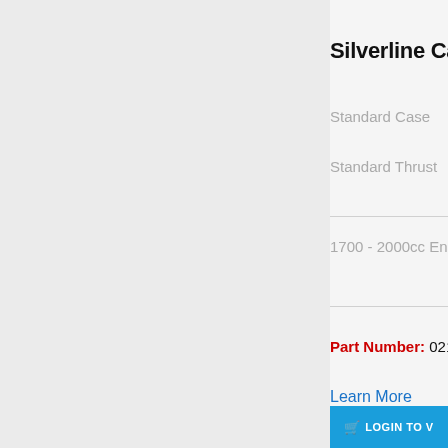Silverline Can
Standard Case
Standard Thrust
1700 - 2000cc En
Part Number: 021
Learn More
[Figure (logo): Yellow racing brand logo with stylized letters]
LOGIN TO V